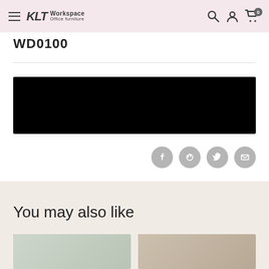KLT Workspace Office furniture — navigation bar with hamburger menu, search, account, and cart (0 items)
WD0100
[Figure (photo): Black rectangular image block (product image redacted/blacked out)]
[Figure (infographic): Social share icons row: Facebook, Pinterest, Twitter, Email — gray circles]
You may also like
[Figure (photo): Product card with 25% red badge, light gray/green product photo]
[Figure (photo): Product card with 25% red badge, tan/beige product photo]